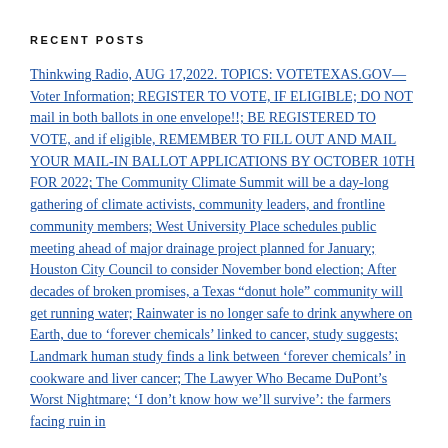RECENT POSTS
Thinkwing Radio, AUG 17,2022. TOPICS: VOTETEXAS.GOV—Voter Information; REGISTER TO VOTE, IF ELIGIBLE; DO NOT mail in both ballots in one envelope!!; BE REGISTERED TO VOTE, and if eligible, REMEMBER TO FILL OUT AND MAIL YOUR MAIL-IN BALLOT APPLICATIONS BY OCTOBER 10TH FOR 2022; The Community Climate Summit will be a day-long gathering of climate activists, community leaders, and frontline community members; West University Place schedules public meeting ahead of major drainage project planned for January; Houston City Council to consider November bond election; After decades of broken promises, a Texas “donut hole” community will get running water; Rainwater is no longer safe to drink anywhere on Earth, due to ‘forever chemicals’ linked to cancer, study suggests; Landmark human study finds a link between ‘forever chemicals’ in cookware and liver cancer; The Lawyer Who Became DuPont’s Worst Nightmare; ‘I don’t know how we’ll survive’: the farmers facing ruin in